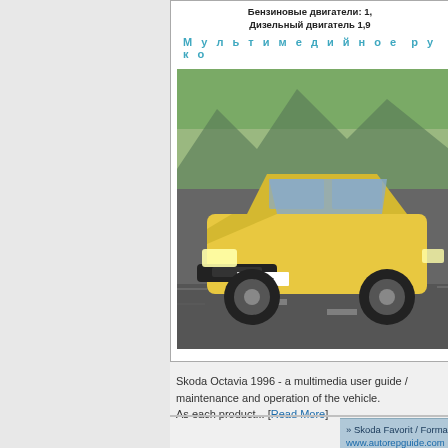Бензиновые двигатели: 1,
Дизельный двигатель 1,9
Мультимедийное руко
[Figure (photo): Yellow Skoda Octavia car driving on road with mountain background, license plate MBN 75-07]
Skoda Octavia 1996 - a multimedia user guide / maintenance and operation of the vehicle.
As each product... [Read More]
» Skoda Favorit / Forman (1989-1992) workshop m...
www.autorepguide.com